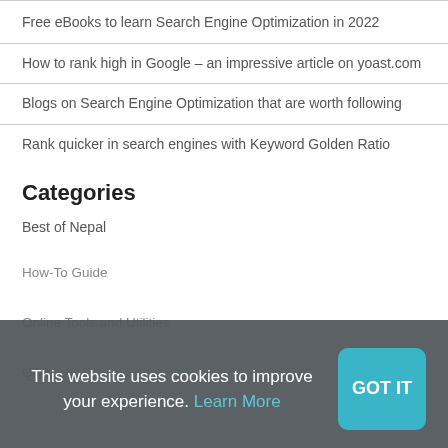Free eBooks to learn Search Engine Optimization in 2022
How to rank high in Google – an impressive article on yoast.com
Blogs on Search Engine Optimization that are worth following
Rank quicker in search engines with Keyword Golden Ratio
Categories
Best of Nepal
How-To Guide
Online Tools and Utilities
Q&A
This website uses cookies to improve your experience. Learn More